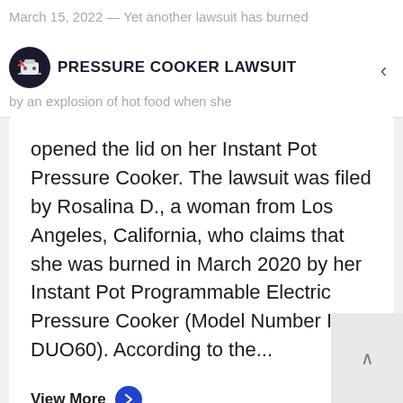March 15, 2022 — Yet another lawsuit has burned by an explosion of hot food when she
PRESSURE COOKER LAWSUIT
opened the lid on her Instant Pot Pressure Cooker. The lawsuit was filed by Rosalina D., a woman from Los Angeles, California, who claims that she was burned in March 2020 by her Instant Pot Programmable Electric Pressure Cooker (Model Number IP-DUO60). According to the...
View More